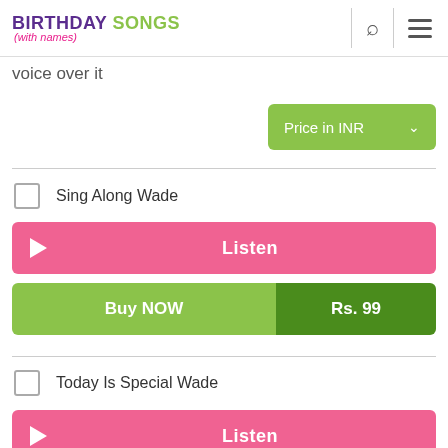BIRTHDAY SONGS (with names)
voice over it
Price in INR
Sing Along Wade
Listen
Buy NOW   Rs. 99
Today Is Special Wade
Listen